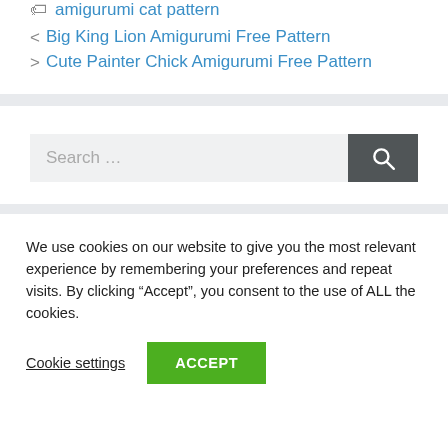amigurumi cat pattern
< Big King Lion Amigurumi Free Pattern
> Cute Painter Chick Amigurumi Free Pattern
Search ...
We use cookies on our website to give you the most relevant experience by remembering your preferences and repeat visits. By clicking "Accept", you consent to the use of ALL the cookies.
Cookie settings   ACCEPT